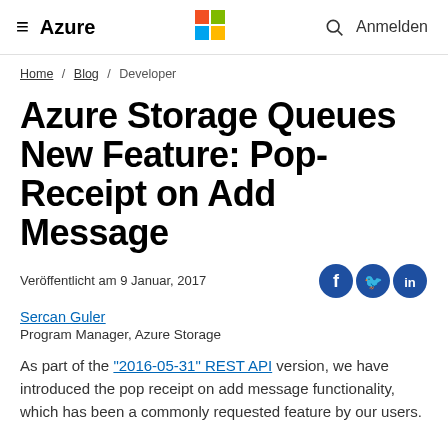≡  Azure   [Microsoft Logo]   🔍  Anmelden
Home / Blog / Developer
Azure Storage Queues New Feature: Pop-Receipt on Add Message
Veröffentlicht am 9 Januar, 2017
Sercan Guler
Program Manager, Azure Storage
As part of the "2016-05-31" REST API version, we have introduced the pop receipt on add message functionality, which has been a commonly requested feature by our users.